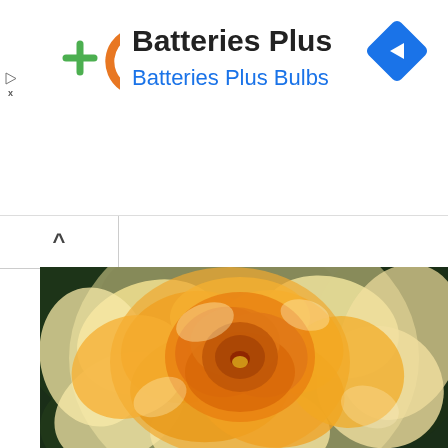[Figure (screenshot): Ad banner for Batteries Plus with orange circular logo with green plus sign, company name 'Batteries Plus' in black bold text, 'Batteries Plus Bulbs' in blue text, and a blue diamond navigation arrow icon on the right. Small play and close icons on the left edge.]
[Figure (screenshot): Browser tab bar with a caret/chevron up icon (^) on the left tab]
[Figure (photo): Close-up photograph of a large, full, yellow-orange English rose bloom with tightly packed ruffled petals against a dark green blurred background.]